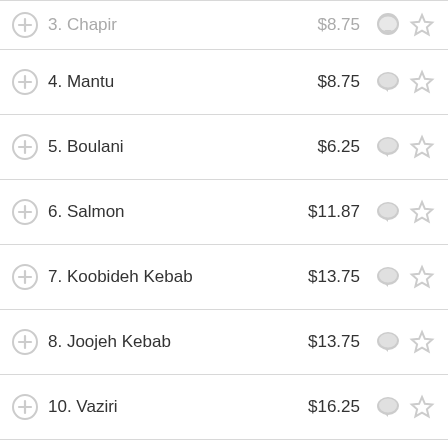3. Chapir  $8.75
4. Mantu  $8.75
5. Boulani  $6.25
6. Salmon  $11.87
7. Koobideh Kebab  $13.75
8. Joojeh Kebab  $13.75
10. Vaziri  $16.25
12. Chopan  $18.75
14. Ghormeh Sabzi  $13.75
15. Zereshk Polo and Chicken  $11.87
Chicken Kebab  $13.75